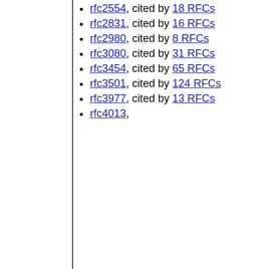rfc2554, cited by 18 RFCs
rfc2831, cited by 16 RFCs
rfc2980, cited by 8 RFCs
rfc3080, cited by 31 RFCs
rfc3454, cited by 65 RFCs
rfc3501, cited by 124 RFCs
rfc3977, cited by 13 RFCs
rfc4013,